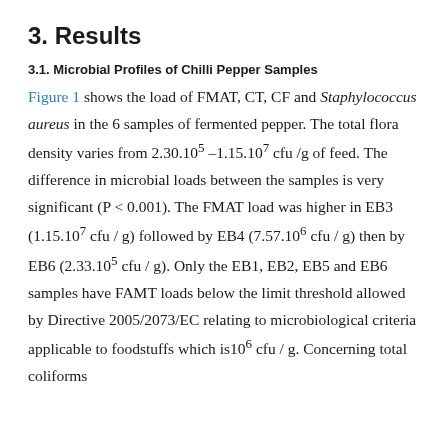3. Results
3.1. Microbial Profiles of Chilli Pepper Samples
Figure 1 shows the load of FMAT, CT, CF and Staphylococcus aureus in the 6 samples of fermented pepper. The total flora density varies from 2.30.10⁵ –1.15.10⁷ cfu /g of feed. The difference in microbial loads between the samples is very significant (P < 0.001). The FMAT load was higher in EB3 (1.15.10⁷ cfu / g) followed by EB4 (7.57.10⁶ cfu / g) then by EB6 (2.33.10⁵ cfu / g). Only the EB1, EB2, EB5 and EB6 samples have FAMT loads below the limit threshold allowed by Directive 2005/2073/EC relating to microbiological criteria applicable to foodstuffs which is10⁶ cfu / g. Concerning total coliforms